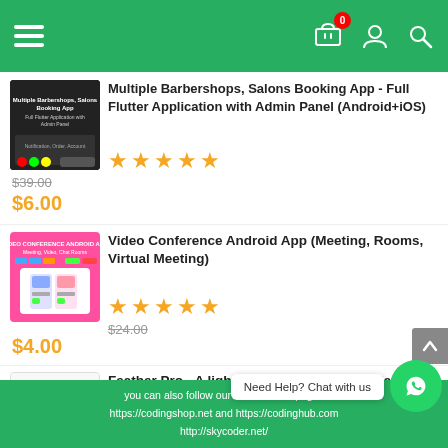Navigation header with hamburger menu, cart (0), user, and search icons
[Figure (screenshot): Product thumbnail for Multiple Barbershops, Salons Booking App]
Multiple Barbershops, Salons Booking App - Full Flutter Application with Admin Panel (Android+iOS)
★★★★★
$39.00 (strikethrough) $6.00
[Figure (screenshot): Product thumbnail for Video Conference Android App]
Video Conference Android App (Meeting, Rooms, Virtual Meeting)
★★★★★
$24.00 (strikethrough) $4.00
[Figure (screenshot): Product thumbnail for Feather Pro]
Feather Pro - A lightweight, blazingly fast flat-file website engine 1.0.6
★★★★★ (partial)
you can also follow our social media pages
https://codingshop.net and https://codinghub.com
http://skycoder.net/
Need Help? Chat with us